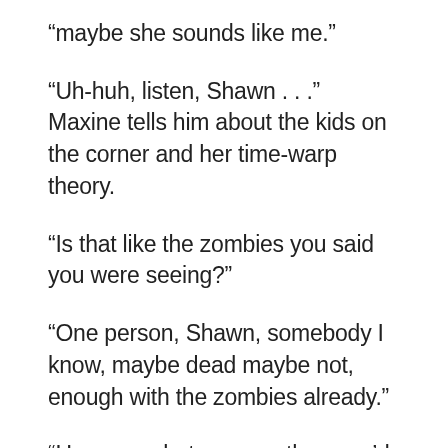“maybe she sounds like me.”
“Uh-huh, listen, Shawn . . .” Maxine tells him about the kids on the corner and her time-warp theory.
“Is that like the zombies you said you were seeing?”
“One person, Shawn, somebody I know, maybe dead maybe not, enough with the zombies already.”
“Hmm yes, but now another, you’d have to say insane, suspicion has begun to bloom in all the California sunshine